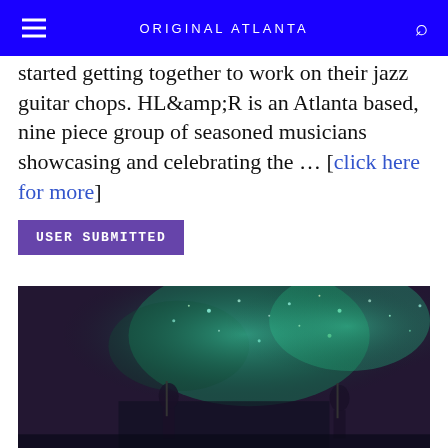ORIGINAL ATLANTA
started getting together to work on their jazz guitar chops. HL&amp;amp;R is an Atlanta based, nine piece group of seasoned musicians showcasing and celebrating the … [click here for more]
USER SUBMITTED
[Figure (photo): Concert photo showing performers on stage with green glowing light effects and sparkles in a dark venue]